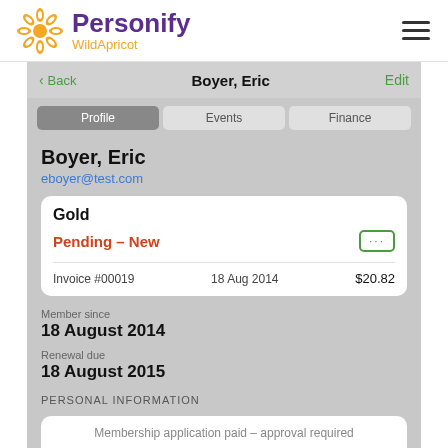Personify WildApricot
[Figure (screenshot): Mobile app screenshot showing a member profile for Boyer, Eric with Gold membership status Pending - New, Invoice #00019 dated 18 Aug 2014 for $20.82, Member since 18 August 2014, Renewal due 18 August 2015, with a modal showing Membership application paid - approval required and an Approve button]
Boyer, Eric
eboyer@test.com
Gold
Pending – New
Invoice #00019  18 Aug 2014  $20.82
Member since: 18 August 2014
Renewal due: 18 August 2015
PERSONAL INFORMATION
Membership application paid – approval required
Approve